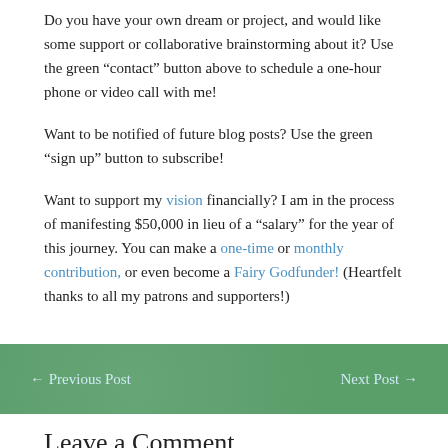Do you have your own dream or project, and would like some support or collaborative brainstorming about it? Use the green “contact” button above to schedule a one-hour phone or video call with me!
Want to be notified of future blog posts? Use the green “sign up” button to subscribe!
Want to support my vision financially? I am in the process of manifesting $50,000 in lieu of a “salary” for the year of this journey. You can make a one-time or monthly contribution, or even become a Fairy Godfunder! (Heartfelt thanks to all my patrons and supporters!)
← Previous Post    Next Post →
Leave a Comment